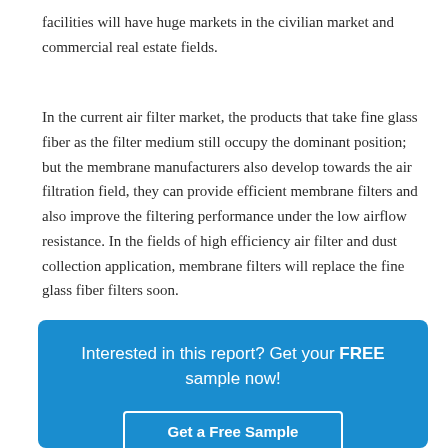facilities will have huge markets in the civilian market and commercial real estate fields.
In the current air filter market, the products that take fine glass fiber as the filter medium still occupy the dominant position; but the membrane manufacturers also develop towards the air filtration field, they can provide efficient membrane filters and also improve the filtering performance under the low airflow resistance. In the fields of high efficiency air filter and dust collection application, membrane filters will replace the fine glass fiber filters soon.
Interested in this report? Get your FREE sample now!
Get a Free Sample